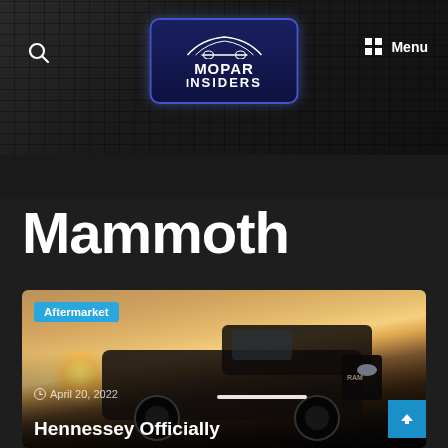[Figure (screenshot): Mopar Insiders website header with dark grille background texture, search icon, Mopar Insiders logo badge (dark blue with car silhouette), and Menu button]
BIG GO! 68th Annual Dodge Power Brokers NHRA_
Mammoth
[Figure (photo): Black Ram TRX truck (Hennessey Mammoth) photographed at sunset on a flat plain, with RAM grille visible and LED light bar, 'Aftermarket' category tag overlay, date April 20, 2022, and article title 'Hennessey Officially']